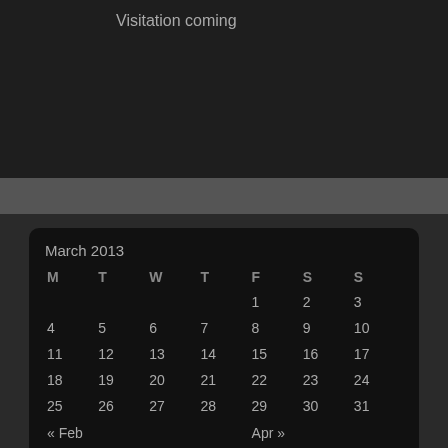Visitation coming
| M | T | W | T | F | S | S |
| --- | --- | --- | --- | --- | --- | --- |
|  |  |  |  | 1 | 2 | 3 |
| 4 | 5 | 6 | 7 | 8 | 9 | 10 |
| 11 | 12 | 13 | 14 | 15 | 16 | 17 |
| 18 | 19 | 20 | 21 | 22 | 23 | 24 |
| 25 | 26 | 27 | 28 | 29 | 30 | 31 |
« Feb    Apr »